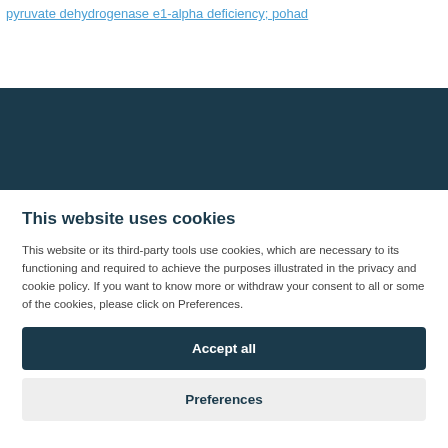pyruvate dehydrogenase e1-alpha deficiency; pohad
mendelian
This website uses cookies
This website or its third-party tools use cookies, which are necessary to its functioning and required to achieve the purposes illustrated in the privacy and cookie policy. If you want to know more or withdraw your consent to all or some of the cookies, please click on Preferences.
Accept all
Preferences